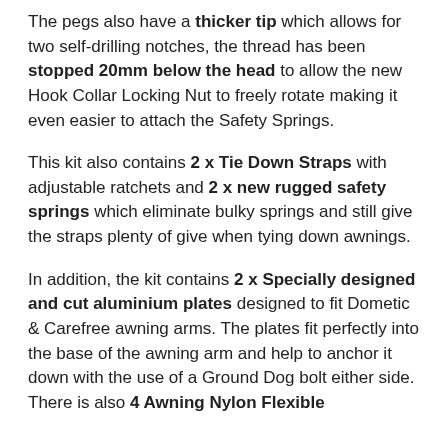The pegs also have a thicker tip which allows for two self-drilling notches, the thread has been stopped 20mm below the head to allow the new Hook Collar Locking Nut to freely rotate making it even easier to attach the Safety Springs.
This kit also contains 2 x Tie Down Straps with adjustable ratchets and 2 x new rugged safety springs which eliminate bulky springs and still give the straps plenty of give when tying down awnings.
In addition, the kit contains 2 x Specially designed and cut aluminium plates designed to fit Dometic & Carefree awning arms. The plates fit perfectly into the base of the awning arm and help to anchor it down with the use of a Ground Dog bolt either side.  There is also 4 Awning Nylon Flexible